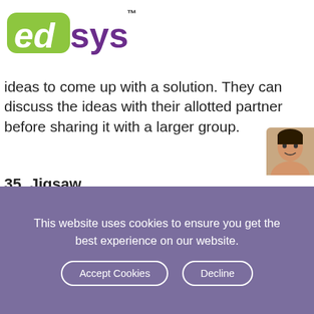[Figure (logo): Edsys logo with green 'ed' text and purple 'sys' text, with TM superscript]
ideas to come up with a solution. They can discuss the ideas with their allotted partner before sharing it with a larger group.
35. Jigsaw
This classroom activity allows students to rely on each other to succeed. In this method, a puzzle is broken into
[Figure (infographic): Green banner with text: Explore Our Extensive Researched Educational App Directory, with close button and person image]
This website uses cookies to ensure you get the best experience on our website.
Accept Cookies
Decline